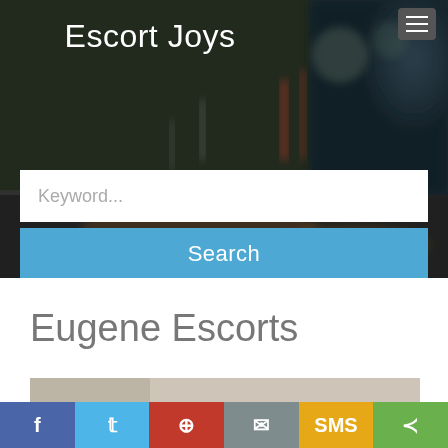Escort Joys
Keyword...
Search
Eugene Escorts
[Figure (photo): Blurred city street photo used as hero background]
[Figure (photo): Close-up photo strip at bottom of page content area]